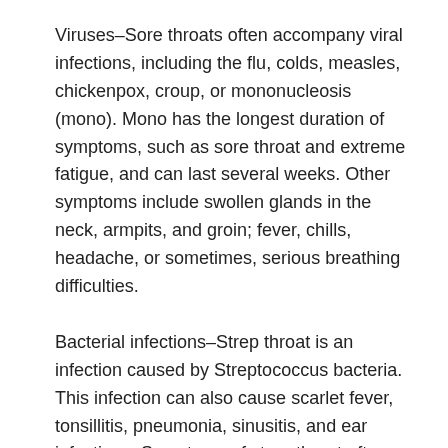Viruses–Sore throats often accompany viral infections, including the flu, colds, measles, chickenpox, croup, or mononucleosis (mono). Mono has the longest duration of symptoms, such as sore throat and extreme fatigue, and can last several weeks. Other symptoms include swollen glands in the neck, armpits, and groin; fever, chills, headache, or sometimes, serious breathing difficulties.
Bacterial infections–Strep throat is an infection caused by Streptococcus bacteria. This infection can also cause scarlet fever, tonsillitis, pneumonia, sinusitis, and ear infections. Symptoms of strep throat often include fever (greater than 101°F), white draining patches on the throat, and swollen or tender lymph glands in the neck. Children may have a headache and stomach ache.